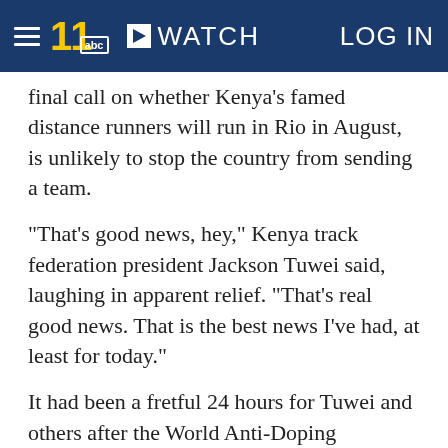≡  11 abc  ▶ WATCH   LOG IN
final call on whether Kenya's famed distance runners will run in Rio in August, is unlikely to stop the country from sending a team.
"That's good news, hey," Kenya track federation president Jackson Tuwei said, laughing in apparent relief. "That's real good news. That is the best news I've had, at least for today."
It had been a fretful 24 hours for Tuwei and others after the World Anti-Doping Agency's unexpected decision Thursday to suspend Kenya's national anti-doping body over flawed legislation passed by lawmakers last month. The declaration of noncompliance by WADA raised the possibility that